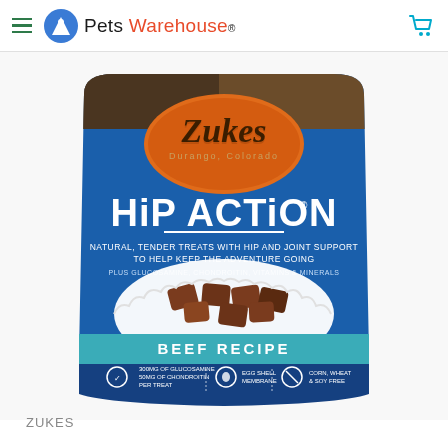Pets Warehouse
[Figure (photo): Zuke's Hip Action Beef Recipe dog treats bag – blue pouch with orange Zuke's oval logo, 'Durango, Colorado' text, large white 'HIP ACTION' title, subtitle 'Natural, Tender Treats with Hip and Joint Support to Help Keep the Adventure Going', plus 'Glucosamine, Chondroitin, Vitamins & Minerals', teal banner reading 'BEEF RECIPE', icons showing 300mg Glucosamine / 50mg Chondroitin per treat, Egg Shell Membrane, Corn Wheat & Soy Free]
ZUKES